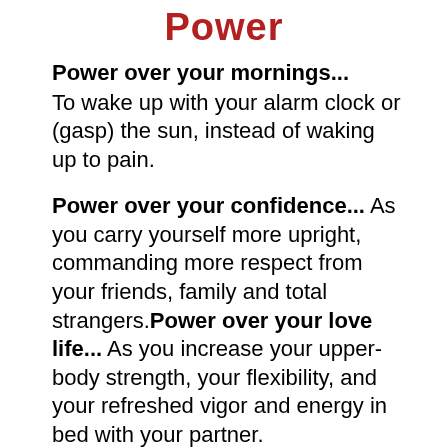Power
Power over your mornings... To wake up with your alarm clock or (gasp) the sun, instead of waking up to pain.
Power over your confidence... As you carry yourself more upright, commanding more respect from your friends, family and total strangers.Power over your love life... As you increase your upper-body strength, your flexibility, and your refreshed vigor and energy in bed with your partner.